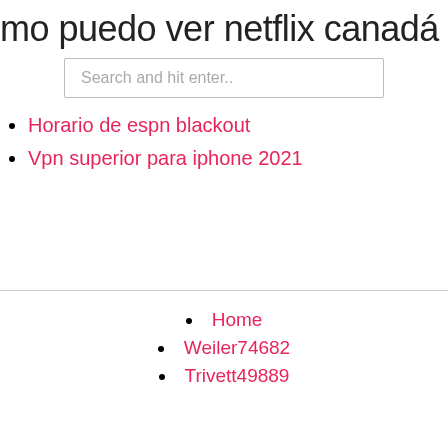mo puedo ver netflix canadá en noso
Search and hit enter..
Horario de espn blackout
Vpn superior para iphone 2021
Home
Weiler74682
Trivett49889